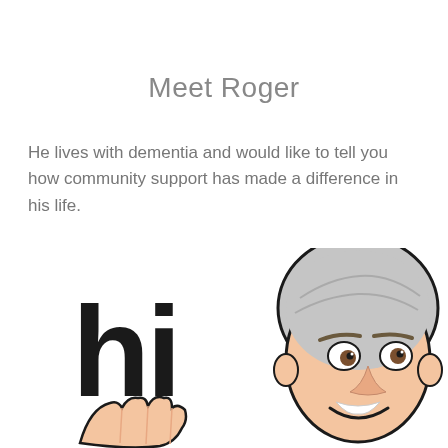Meet Roger
He lives with dementia and would like to tell you how community support has made a difference in his life.
[Figure (illustration): Cartoon bitmoji-style illustration of an older man with gray hair and a white mustache waving hello, with large bold 'hi' text on the left side and a waving hand visible at the bottom left. The man is smiling and looking upward.]